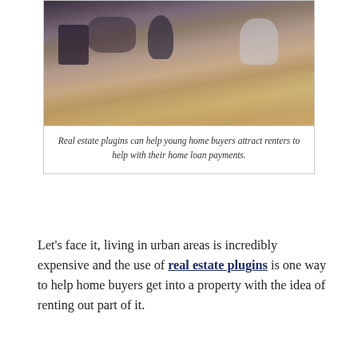[Figure (photo): Photo of young people sitting at a wooden table with coffee mugs and cups, viewed from above at a cafe or similar setting.]
Real estate plugins can help young home buyers attract renters to help with their home loan payments.
Let's face it, living in urban areas is incredibly expensive and the use of real estate plugins is one way to help home buyers get into a property with the idea of renting out part of it.
Yes, home prices and rental rates are going through the roof in some markets. San Francisco, New York, and Los Angeles are seeing record highs for prices. Ironically, Millennials want to move to urban areas more than ever. They are in essence, creating their own dilemma.
In addition, Millennials in most markets have held off the purchase of any property. They didn't want to commit to a mortgage (even though, in another irony, mortgage rates...